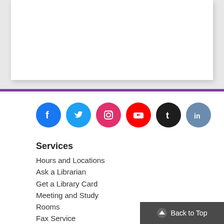[Figure (other): White card/panel on grey background (top section of a web page)]
[Figure (infographic): Social media icons: Facebook (blue), Twitter (light blue), Instagram (pink/red), YouTube (red), Tumblr (dark), LinkedIn (steel blue) — all circular]
Services
Hours and Locations
Ask a Librarian
Get a Library Card
Meeting and Study Rooms
Fax Service
Classic Catalog
Back to Top